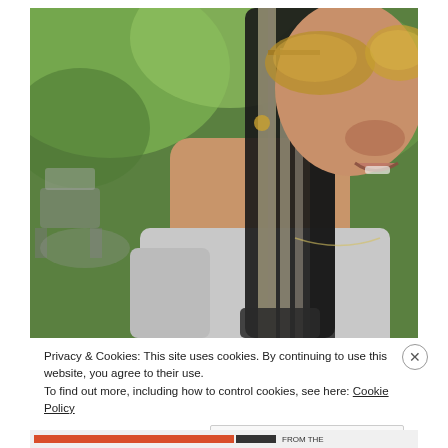[Figure (photo): A woman with long braided hair (black and blonde/grey) wearing gold-tinted sunglasses and a grey t-shirt, looking down at a phone. Outdoor background with green foliage and patio furniture.]
Privacy & Cookies: This site uses cookies. By continuing to use this website, you agree to their use.
To find out more, including how to control cookies, see here: Cookie Policy
Close and accept